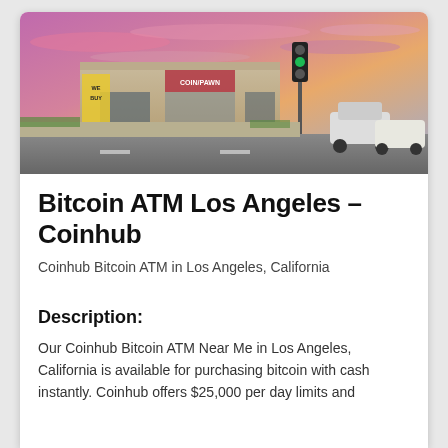[Figure (photo): Street-level photo of a retail strip mall in Los Angeles at sunset with pink and purple sky, featuring a pawn shop with a 'WE BUY GOLD' sign, traffic light showing green, and vehicles on the road.]
Bitcoin ATM Los Angeles – Coinhub
Coinhub Bitcoin ATM in Los Angeles, California
Description:
Our Coinhub Bitcoin ATM Near Me in Los Angeles, California is available for purchasing bitcoin with cash instantly. Coinhub offers $25,000 per day limits and